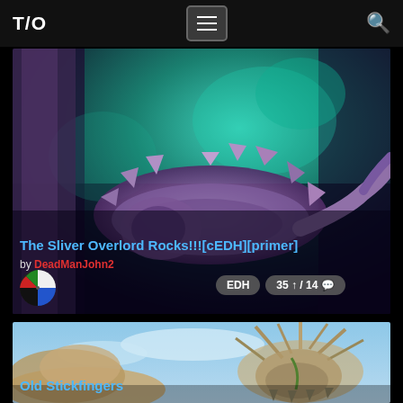T/O
[Figure (illustration): Fantasy creature card art — a spiky, purple-hued alien creature (Sliver Overlord) against a dark teal/purple background]
The Sliver Overlord Rocks!!![cEDH][primer]
by DeadManJohn2
[Figure (illustration): Color wheel pie chart icon showing red, black, white, blue, green quarters]
EDH  35 ↑ / 14 💬
[Figure (illustration): Fantasy creature card art — Old Stickfingers, a skeletal creature with antler-like protrusions against a blue sky background]
Old Stickfingers